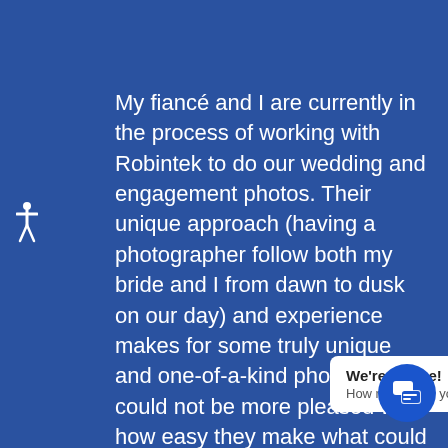My fiancé and I are currently in the process of working with Robintek to do our wedding and engagement photos. Their unique approach (having a photographer follow both my bride and I from dawn to dusk on our day) and experience makes for some truly unique and one-of-a-kind photos. We could not be more pleased with how easy they make what could be a very difficult process, the quality of their work, and how great they are to work with. I highly recommend
[Figure (screenshot): Live chat popup showing 'We're Online! How may I help you today?' with a blue chat icon button on the right]